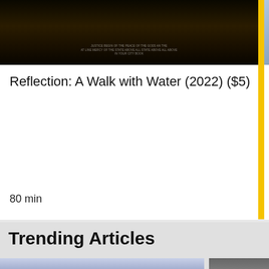[Figure (photo): Dark road/desert scene with faint overlay text, movie thumbnail for 'Reflection: A Walk with Water']
Reflection: A Walk with Water (2022) ($5)
80 min
[Figure (photo): Partially visible thumbnail, blue/gray tones, partially cropped title starting 'Psyc of M']
Psyc of M
58 min
Trending Articles
[Figure (photo): Group of politicians/candidates standing on a debate stage with American flag backdrop, red/white/blue decorations]
[Figure (photo): Person raising hand, partially cropped on right side]